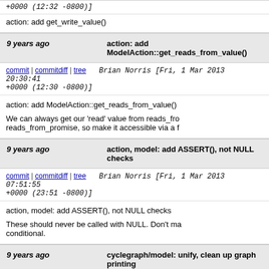+0000 (12:32 -0800)]
action: add get_write_value()
9 years ago   action: add ModelAction::get_reads_from_value()
commit | commitdiff | tree   Brian Norris [Fri, 1 Mar 2013 20:30:41 +0000 (12:30 -0800)]
action: add ModelAction::get_reads_from_value()

We can always get our 'read' value from reads_from or reads_from_promise, so make it accessible via a f
9 years ago   action, model: add ASSERT(), not NULL checks
commit | commitdiff | tree   Brian Norris [Fri, 1 Mar 2013 07:51:55 +0000 (23:51 -0800)]
action, model: add ASSERT(), not NULL checks

These should never be called with NULL. Don't make conditional.
9 years ago   cyclegraph/model: unify, clean up graph printing